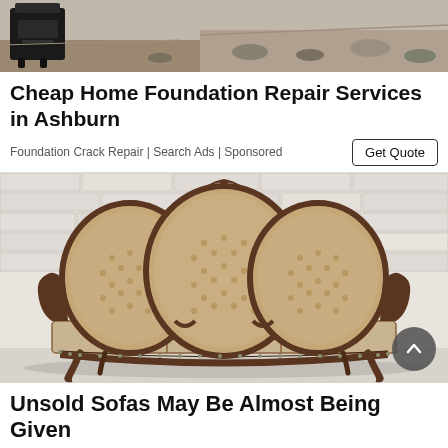[Figure (photo): Photo of a black cast iron wood stove on a dirt/rubble ground, construction/foundation repair scene]
Cheap Home Foundation Repair Services in Ashburn
Foundation Crack Repair | Search Ads | Sponsored
Get Quote
[Figure (photo): Photo of an ornate Victorian-style tufted velvet sofa with three oval back sections and dark carved wooden frame, against a white brick wall]
Unsold Sofas May Be Almost Being Given